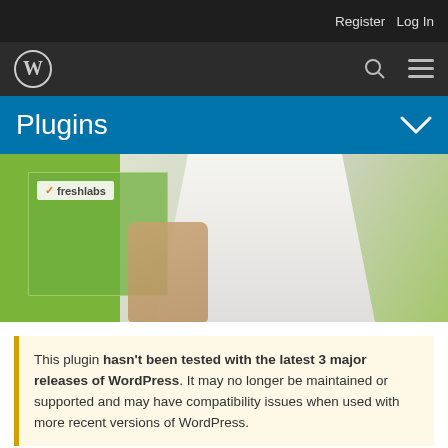Register   Log In
[Figure (logo): WordPress logo and navigation bar with search and menu icons]
Plugins
[Figure (photo): Person in white coat holding a green card with freshlabs logo]
This plugin hasn't been tested with the latest 3 major releases of WordPress. It may no longer be maintained or supported and may have compatibility issues when used with more recent versions of WordPress.
[Figure (illustration): Purple thumbnail and blue thumbnail at bottom of page]